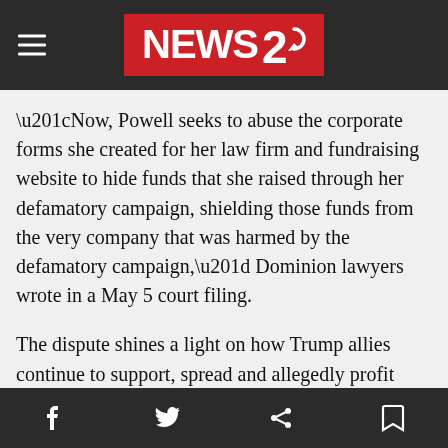NEWS 2
“Now, Powell seeks to abuse the corporate forms she created for her law firm and fundraising website to hide funds that she raised through her defamatory campaign, shielding those funds from the very company that was harmed by the defamatory campaign,” Dominion lawyers wrote in a May 5 court filing.
The dispute shines a light on how Trump allies continue to support, spread and allegedly profit from lies about fraud in the 2020 election. Although the election is settled, and all major court challenges have been dismissed, Powell’s legal defense fund continues to raise money, with help from conspiracy-minded supporters like QAnon adherents.
Social share icons: Facebook, Twitter, Link, Bookmark